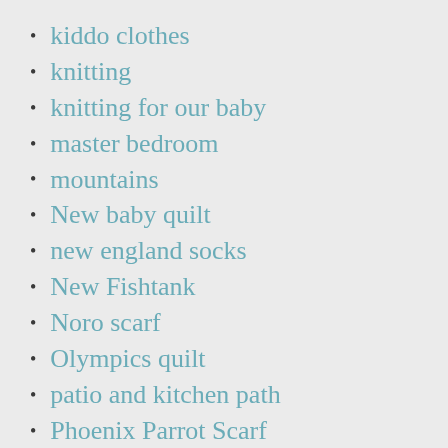kiddo clothes
knitting
knitting for our baby
master bedroom
mountains
New baby quilt
new england socks
New Fishtank
Noro scarf
Olympics quilt
patio and kitchen path
Phoenix Parrot Scarf
Plants
quilting
road trips
School pictures